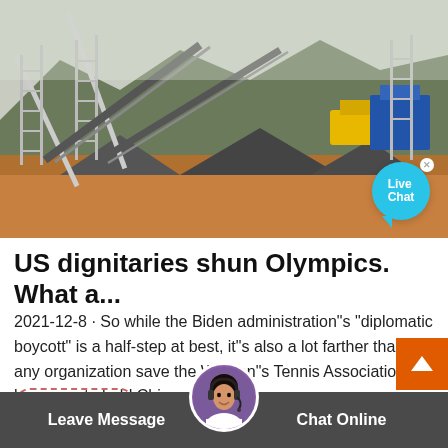[Figure (photo): Industrial mining or quarrying site with conveyor belts, metal scaffolding structures, piles of crushed rock/gravel, and mountains in the background. A yellow machine and blue equipment visible on the right.]
US dignitaries shun Olympics. What a...
2021-12-8 · So while the Biden administration"s "diplomatic boycott" is a half-step at best, it"s also a lot farther than any organization save the Women"s Tennis Association has gone to hold China ...
Read More
Leave Message
Chat Online